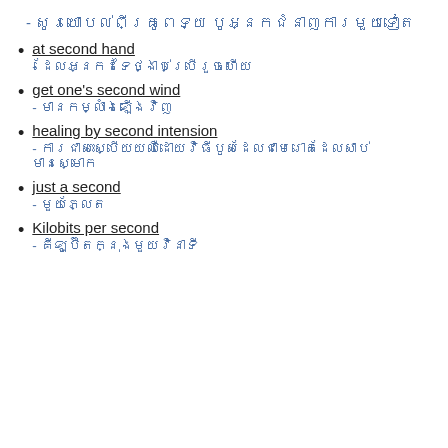- សូរយោបល់ពីគ្រូពេទ្យ បូអ្នកជំនាញការមួយទៀត
at second hand
- ដែលអ្នកដទៃថ្ងាប់ប្រើរួចហើយ
get one's second wind
- មានកម្លាំងឡើងវិញ
healing by second intension
- ការជាសះស្បើយយឈឺដោយវិធីបូសដែលជាមេរោគដែលសាប់មានស្មោក
just a second
- មួយភ្លែត
Kilobits per second
- គីឡូប៊ីតក្នុងមួយវិនាទី